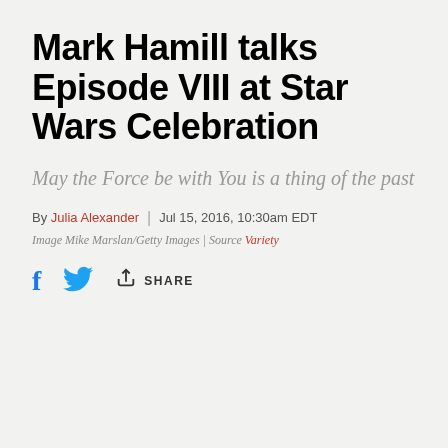Mark Hamill talks Episode VIII at Star Wars Celebration
May the Force be with You is a thing of the past
By Julia Alexander | Jul 15, 2016, 10:30am EDT
Image Mike Marslan/Getty Images | Source Variety
SHARE (social share bar with Facebook, Twitter, and share icons)